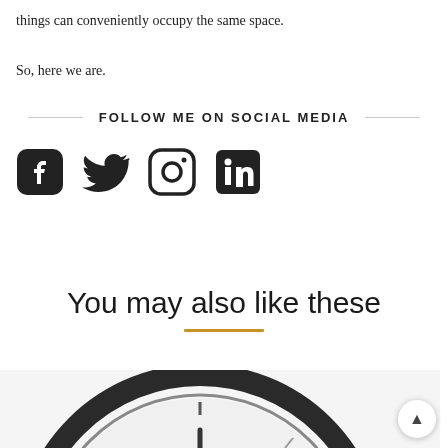things can conveniently occupy the same space.
So, here we are.
FOLLOW ME ON SOCIAL MEDIA
[Figure (illustration): Four social media icons: Facebook, Twitter, Instagram, LinkedIn]
You may also like these
[Figure (photo): Close-up of an analog clock face showing hour and minute hands, black and white]